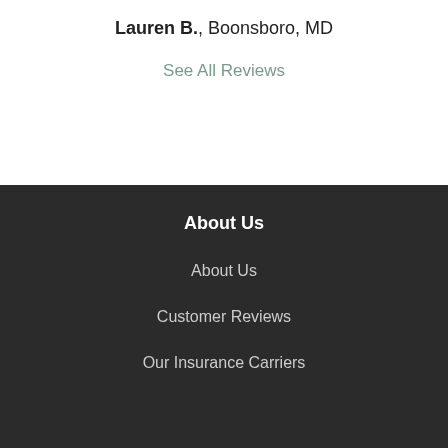Lauren B., Boonsboro, MD
See All Reviews
About Us
About Us
Customer Reviews
Our Insurance Carriers